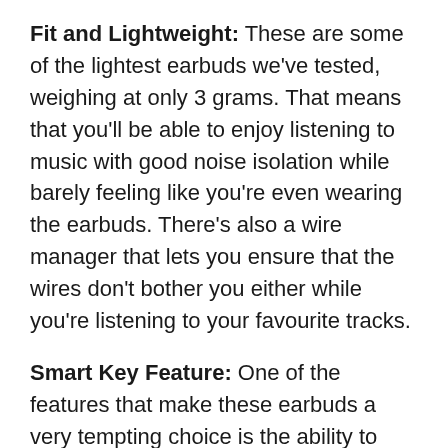Fit and Lightweight: These are some of the lightest earbuds we've tested, weighing at only 3 grams. That means that you'll be able to enjoy listening to music with good noise isolation while barely feeling like you're even wearing the earbuds. There's also a wire manager that lets you ensure that the wires don't bother you either while you're listening to your favourite tracks.
Smart Key Feature: One of the features that make these earbuds a very tempting choice is the ability to modify functions. You can use an app from the Play Store to change your assigned buttons that it all...